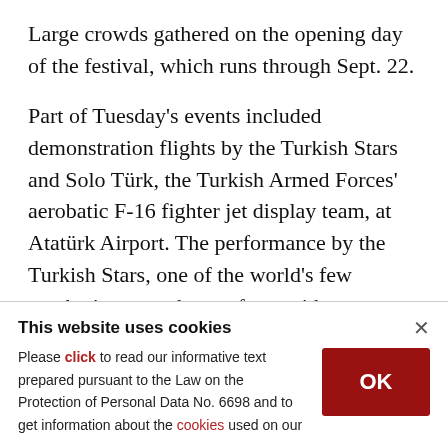Large crowds gathered on the opening day of the festival, which runs through Sept. 22.
Part of Tuesday's events included demonstration flights by the Turkish Stars and Solo Türk, the Turkish Armed Forces' aerobatic F-16 fighter jet display team, at Atatürk Airport. The performance by the Turkish Stars, one of the world's few acrobatic teams that perform with supersonic aircraft, drew special attention from guests.
This website uses cookies
Please click to read our informative text prepared pursuant to the Law on the Protection of Personal Data No. 6698 and to get information about the cookies used on our